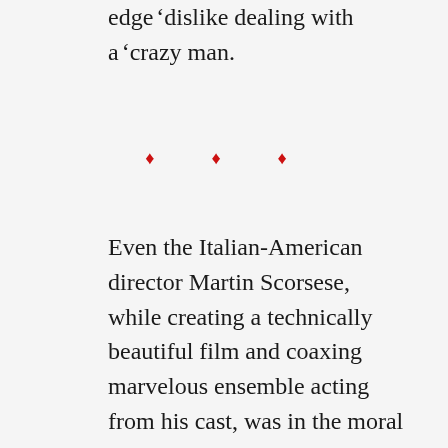edge dislike dealing with a ‘crazy man.
[Figure (other): Three red diamond decorative dividers]
Even the Italian-American director Martin Scorsese, while creating a technically beautiful film and coaxing marvelous ensemble acting from his cast, was in the moral quandary about what to make of LaMotta the man. If the film had to stand on redeeming social qualities, Raging Bull would have